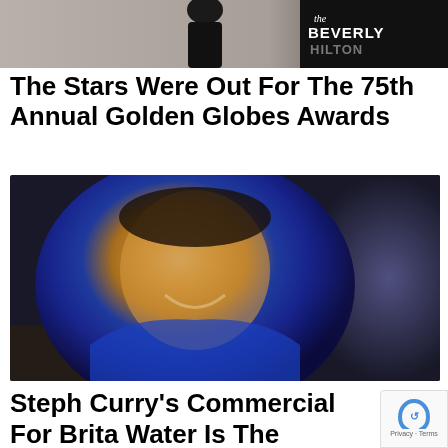[Figure (photo): Top portion of a photo taken at the Beverly Hilton, showing a person in black clothing with the Beverly Hilton logo visible in the upper right corner on a dark background.]
The Stars Were Out For The 75th Annual Golden Globes Awards
[Figure (photo): Close-up photo of Steph Curry smiling, wearing a blue jersey, leaning forward, with a crowd visible in the blurred background.]
Steph Curry's Commercial For Brita Water Is The Funniest Thing You'll See This Week